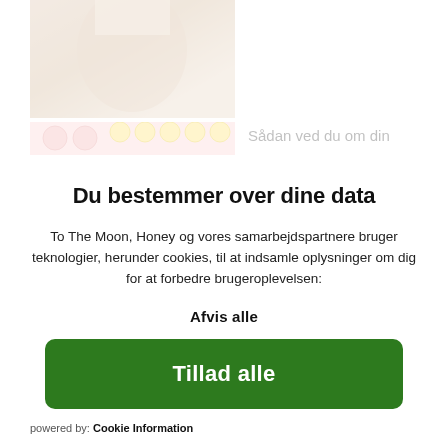[Figure (photo): Partial view of a person's torso, cropped lifestyle photo on white background]
[Figure (photo): Colorful illustration/banner with fruit motif on pink background]
Sådan ved du om din
Du bestemmer over dine data
To The Moon, Honey og vores samarbejdspartnere bruger teknologier, herunder cookies, til at indsamle oplysninger om dig for at forbedre brugeroplevelsen:
Afvis alle
Tillad alle
powered by: Cookie Information